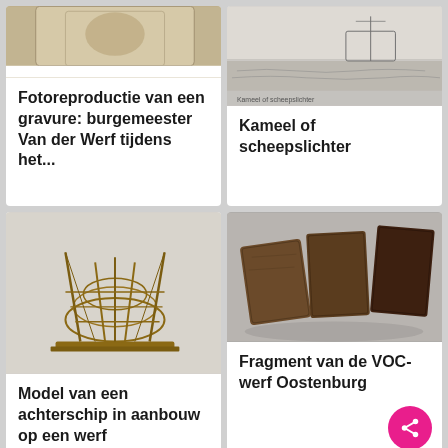[Figure (photo): Top portion of a photoreproduction of an engraving showing a portrait figure (burgemeester Van der Werf), partially visible]
Fotoreproductie van een gravure: burgemeester Van der Werf tijdens het...
[Figure (photo): Engraving of a ship on water (Kameel of scheepslichter), seascape with vessel and figures]
Kameel of scheepslichter
[Figure (photo): Wooden scale model of a ship hull under construction on a shipyard frame, on a rectangular base]
Model van een achterschip in aanbouw op een werf
[Figure (photo): Three dark wooden fragments/planks from the VOC shipyard Oostenburg, arranged on a light background]
Fragment van de VOC-werf Oostenburg